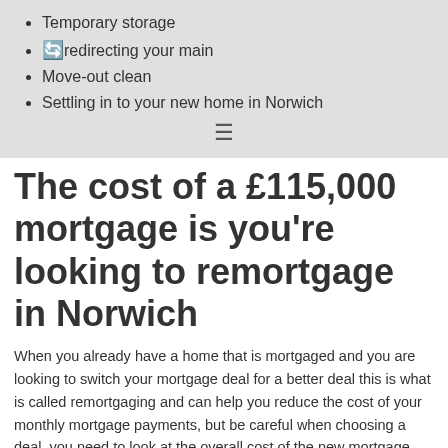Temporary storage
Redirecting your main
Move-out clean
Settling in to your new home in Norwich
The cost of a £115,000 mortgage is you're looking to remortgage in Norwich
When you already have a home that is mortgaged and you are looking to switch your mortgage deal for a better deal this is what is called remortgaging and can help you reduce the cost of your monthly mortgage payments, but be careful when choosing a deal, you need to look at the overall cost of the new mortgage rather than the headline rate alone. If you are in any doubt, you ought to be speaking with a specialist mortgage broker.
A good mortgage broker will tend to take both the rate and any